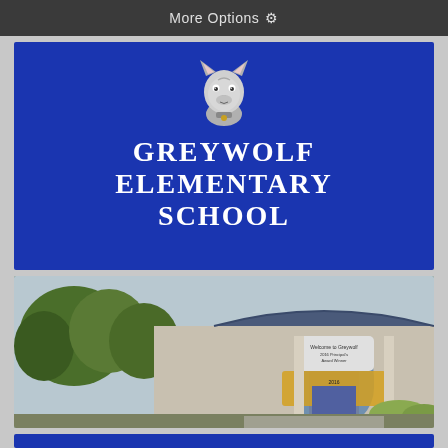More Options ⚙
[Figure (illustration): Blue banner with wolf mascot logo and school name text: GREYWOLF ELEMENTARY SCHOOL on dark blue background]
[Figure (photo): Exterior photo of Greywolf Elementary School building entrance with trees, blue roof, welcome sign, and 2016 Principal's Banner Award Winner sign]
[Figure (other): Blue strip at bottom of page]